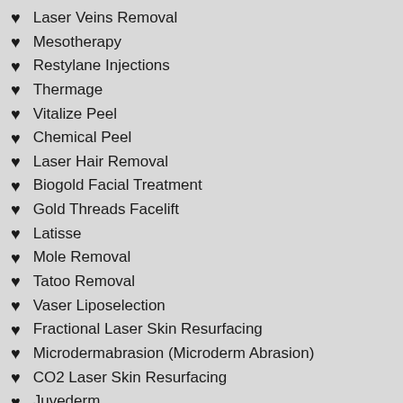Laser Veins Removal
Mesotherapy
Restylane Injections
Thermage
Vitalize Peel
Chemical Peel
Laser Hair Removal
Biogold Facial Treatment
Gold Threads Facelift
Latisse
Mole Removal
Tatoo Removal
Vaser Liposelection
Fractional Laser Skin Resurfacing
Microdermabrasion (Microderm Abrasion)
CO2 Laser Skin Resurfacing
Juvederm